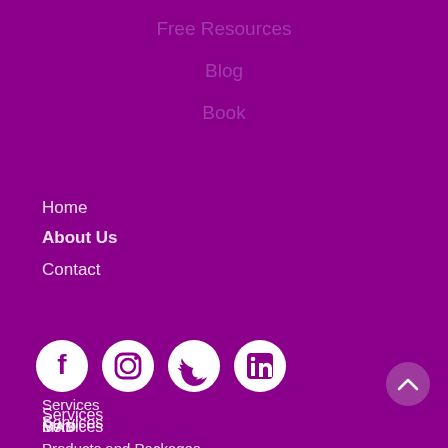Free Resources
Blog
Book
Home
About Us
Contact
[Figure (infographic): Social media icons: Facebook, Instagram, Twitter, LinkedIn]
Services
MAD
Products and Packages
The MAA
Speaking